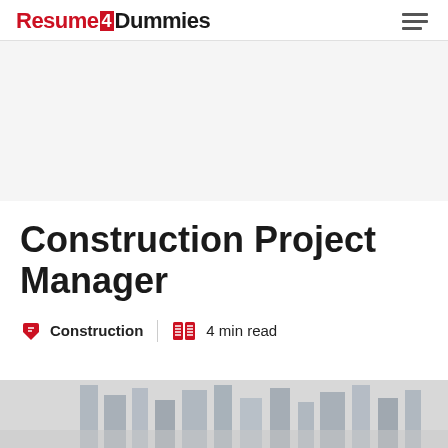Resume4Dummies
Construction Project Manager
Construction  4 min read
[Figure (photo): Construction site photo partially visible at the bottom of the page]